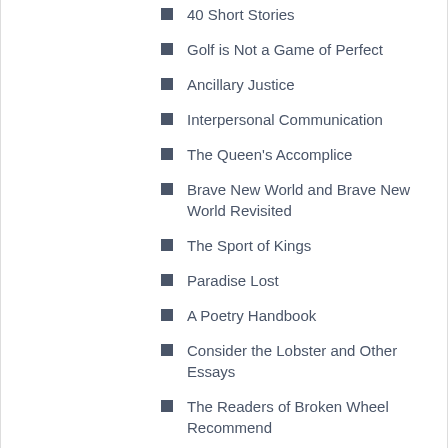40 Short Stories
Golf is Not a Game of Perfect
Ancillary Justice
Interpersonal Communication
The Queen's Accomplice
Brave New World and Brave New World Revisited
The Sport of Kings
Paradise Lost
A Poetry Handbook
Consider the Lobster and Other Essays
The Readers of Broken Wheel Recommend
Live Fast Die Hot
Lila
The Survivor